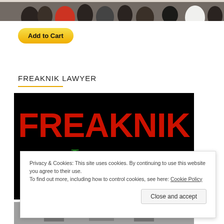[Figure (photo): Crowd of people in outdoor setting, partial view at top of page]
Add to Cart
FREAKNIK LAWYER
[Figure (photo): Book cover with black background showing 'FREAKNIK' in large red bold text and 'Lawyer' in large green italic text below]
Privacy & Cookies: This site uses cookies. By continuing to use this website you agree to their use. To find out more, including how to control cookies, see here: Cookie Policy
Close and accept
[Figure (photo): Partial photo at bottom of page, gray toned image]